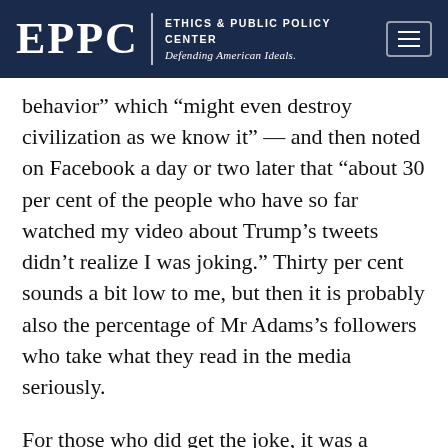EPPC | ETHICS & PUBLIC POLICY CENTER Defending American Ideals.
behavior” which “might even destroy civilization as we know it” — and then noted on Facebook a day or two later that “about 30 per cent of the people who have so far watched my video about Trump’s tweets didn’t realize I was joking.” Thirty per cent sounds a bit low to me, but then it is probably also the percentage of Mr Adams’s followers who take what they read in the media seriously.
For those who did get the joke, it was a reminder that the exchange of insults on social media is now the rhetorical world we all live in,